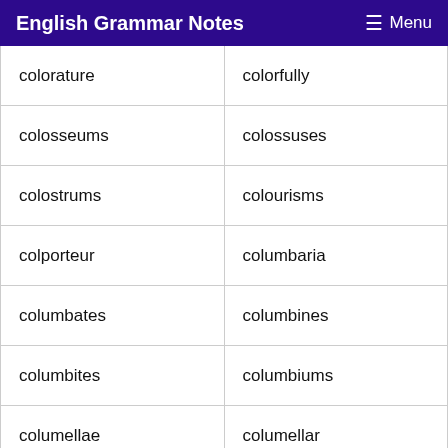English Grammar Notes  Menu
| colorature | colorfully |
| colosseums | colossuses |
| colostrums | colourisms |
| colporteur | columbaria |
| columbates | columbines |
| columbites | columbiums |
| columellae | columellar |
| columnated | columnists |
| comatulids | combusting |
| combustion | combustive |